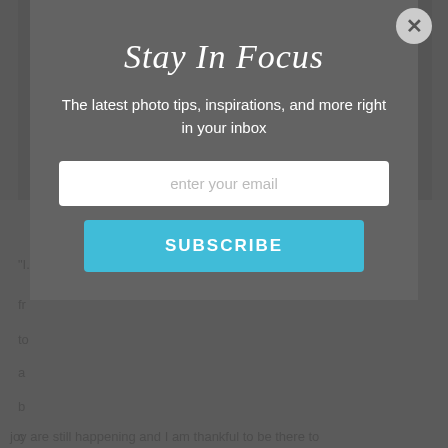[Figure (screenshot): Background photo of roof shingles in grey tones, partially obscured by modal overlay]
Stay In Focus
The latest photo tips, inspirations, and more right in your inbox
enter your email
SUBSCRIBE
joy are still happening and I am thankful to be there to